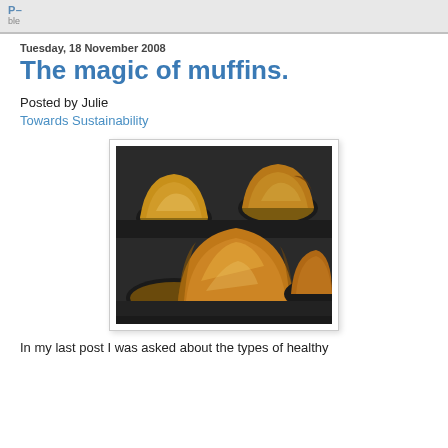P–
ble
Tuesday, 18 November 2008
The magic of muffins.
Posted by Julie
Towards Sustainability
[Figure (photo): Close-up photograph of golden-brown baked muffins in a dark non-stick muffin tin, showing multiple muffins with domed tops.]
In my last post I was asked about the types of healthy